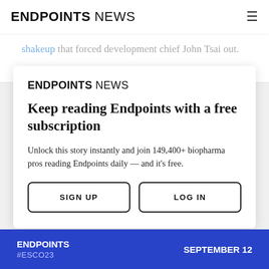ENDPOINTS NEWS
shakeup that forced development chief John Tsai out
[Figure (logo): ENDPOINTS NEWS logo inside modal card]
Keep reading Endpoints with a free subscription
Unlock this story instantly and join 149,400+ biopharma pros reading Endpoints daily — and it's free.
SIGN UP   LOG IN
[Figure (infographic): Blue banner at bottom with ENDPOINTS #ESCO23 on left and SEPTEMBER 12 on right]